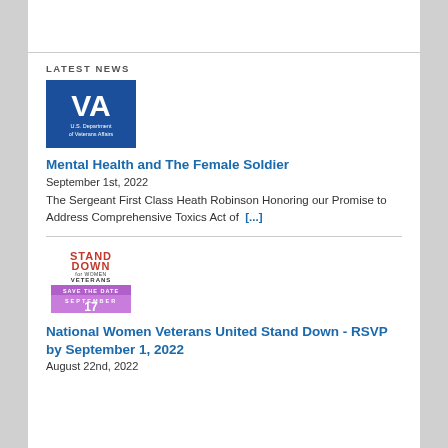LATEST NEWS
[Figure (logo): U.S. Department of Veterans Affairs blue logo with large 'VA' letters and text 'U.S. Department of Veterans Affairs']
Mental Health and The Female Soldier
September 1st, 2022
The Sergeant First Class Heath Robinson Honoring our Promise to Address Comprehensive Toxics Act of  [...]
[Figure (logo): Stand Down for Women Veterans - Save the Date September 17 event flyer image with red and purple colors]
National Women Veterans United Stand Down - RSVP by September 1, 2022
August 22nd, 2022